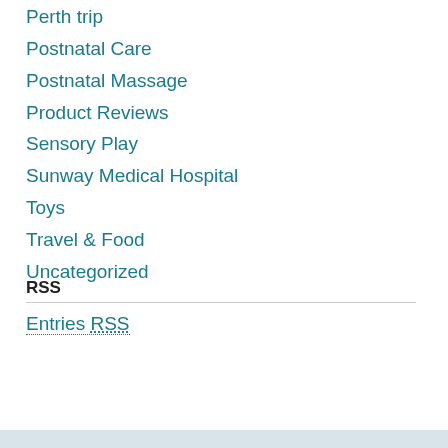Perth trip
Postnatal Care
Postnatal Massage
Product Reviews
Sensory Play
Sunway Medical Hospital
Toys
Travel & Food
Uncategorized
RSS
Entries RSS